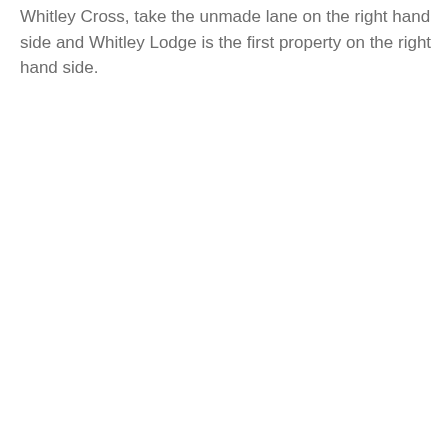Whitley Cross, take the unmade lane on the right hand side and Whitley Lodge is the first property on the right hand side.